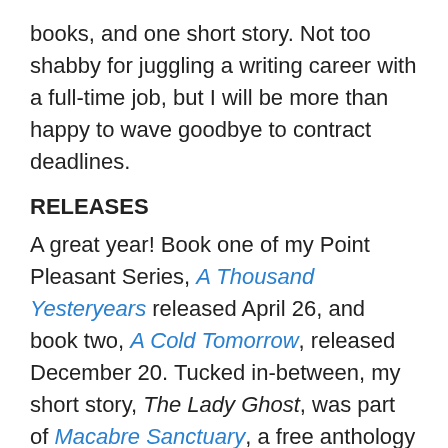books, and one short story. Not too shabby for juggling a writing career with a full-time job, but I will be more than happy to wave goodbye to contract deadlines.
RELEASES
A great year! Book one of my Point Pleasant Series, A Thousand Yesteryears released April 26, and book two, A Cold Tomorrow, released December 20. Tucked in-between, my short story, The Lady Ghost, was part of Macabre Sanctuary, a free anthology of Halloween-themed stories that released on September 30. That book is still free, so if you haven't grabbed a copy yet, don't miss out!
RRBC
I kicked off 2016 as a brand new member of the Rave Reviews Book Club, an experience that has been a